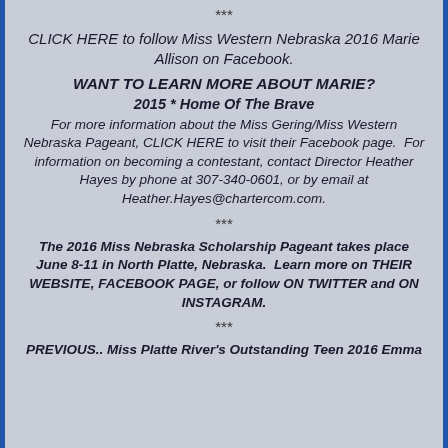***
CLICK HERE to follow Miss Western Nebraska 2016 Marie Allison on Facebook.
WANT TO LEARN MORE ABOUT MARIE?
2015 * Home Of The Brave
For more information about the Miss Gering/Miss Western Nebraska Pageant, CLICK HERE to visit their Facebook page.  For information on becoming a contestant, contact Director Heather Hayes by phone at 307-340-0601, or by email at Heather.Hayes@chartercom.com.
***
The 2016 Miss Nebraska Scholarship Pageant takes place June 8-11 in North Platte, Nebraska.  Learn more on THEIR WEBSITE, FACEBOOK PAGE, or follow ON TWITTER and ON INSTAGRAM.
***
PREVIOUS.. Miss Platte River's Outstanding Teen 2016 Emma